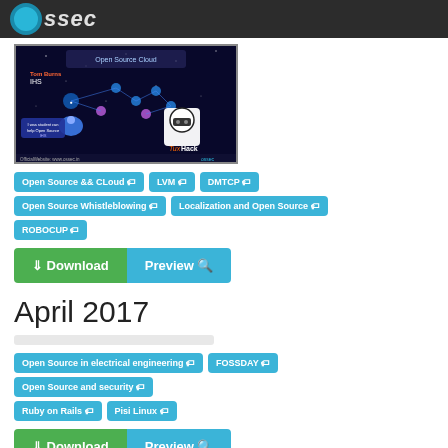ossec
[Figure (screenshot): Screenshot of ossec presentation slide showing network diagram on dark background with TuxHack branding and Open Source Cloud theme]
Open Source && CLoud
LVM
DMTCP
Open Source Whistleblowing
Localization and Open Source
ROBOCUP
Download | Preview
April 2017
Open Source in electrical engineering
FOSSDAY
Open Source and security
Ruby on Rails
Pisi Linux
Download | Preview